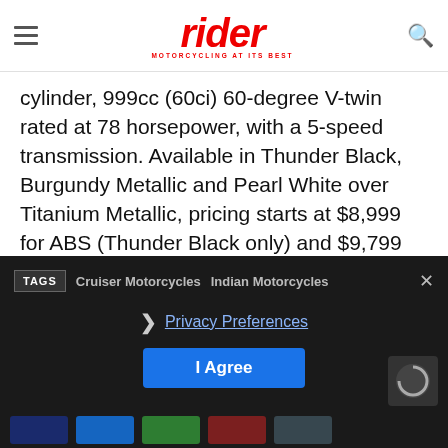rider MOTORCYCLING AT ITS BEST
cylinder, 999cc (60ci) 60-degree V-twin rated at 78 horsepower, with a 5-speed transmission. Available in Thunder Black, Burgundy Metallic and Pearl White over Titanium Metallic, pricing starts at $8,999 for ABS (Thunder Black only) and $9,799 for ABS.
Read our 2016 Indian Scout Sixty Road Test Review
TAGS  Cruiser Motorcycles  Indian Motorcycles
Privacy Preferences
I Agree